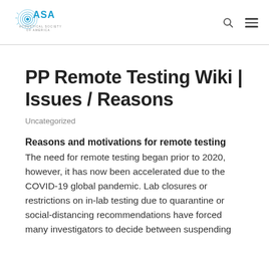[Figure (logo): ASA Acoustical Society of America logo with circular wave icon in blue]
PP Remote Testing Wiki | Issues / Reasons
PP Remote Testing Wiki | Issues / Reasons
Uncategorized
Reasons and motivations for remote testing
The need for remote testing began prior to 2020, however, it has now been accelerated due to the COVID-19 global pandemic. Lab closures or restrictions on in-lab testing due to quarantine or social-distancing recommendations have forced many investigators to decide between suspending